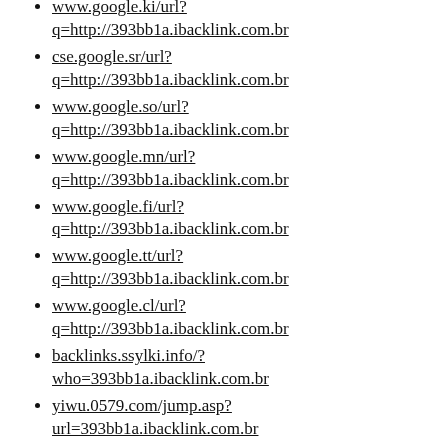www.google.ki/url?q=http://393bb1a.ibacklink.com.br
cse.google.sr/url?q=http://393bb1a.ibacklink.com.br
www.google.so/url?q=http://393bb1a.ibacklink.com.br
www.google.mn/url?q=http://393bb1a.ibacklink.com.br
www.google.fi/url?q=http://393bb1a.ibacklink.com.br
www.google.tt/url?q=http://393bb1a.ibacklink.com.br
www.google.cl/url?q=http://393bb1a.ibacklink.com.br
backlinks.ssylki.info/?who=393bb1a.ibacklink.com.br
yiwu.0579.com/jump.asp?url=393bb1a.ibacklink.com.br
www.google.ci/url?